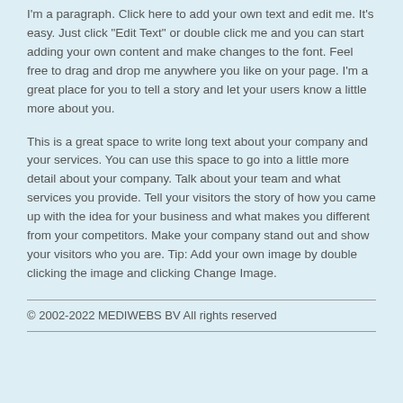I'm a paragraph. Click here to add your own text and edit me. It's easy. Just click "Edit Text" or double click me and you can start adding your own content and make changes to the font. Feel free to drag and drop me anywhere you like on your page. I'm a great place for you to tell a story and let your users know a little more about you.
This is a great space to write long text about your company and your services. You can use this space to go into a little more detail about your company. Talk about your team and what services you provide. Tell your visitors the story of how you came up with the idea for your business and what makes you different from your competitors. Make your company stand out and show your visitors who you are. Tip: Add your own image by double clicking the image and clicking Change Image.
© 2002-2022 MEDIWEBS BV All rights reserved